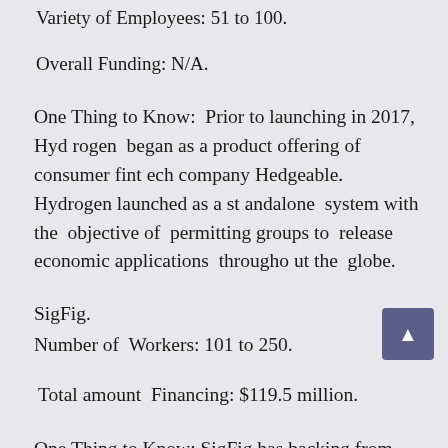Variety of Employees: 51 to 100.
Overall Funding: N/A.
One Thing to Know:  Prior to launching in 2017, Hydrogen  began as a product offering of consumer fintech company Hedgeable. Hydrogen launched as a standalone  system with the  objective of  permitting groups to  release  economic applications  throughout the  globe.
SigFig.
Number of  Workers: 101 to 250.
Total amount  Financing: $119.5 million.
One Thing to Know: SigFig has backing from UBS, N